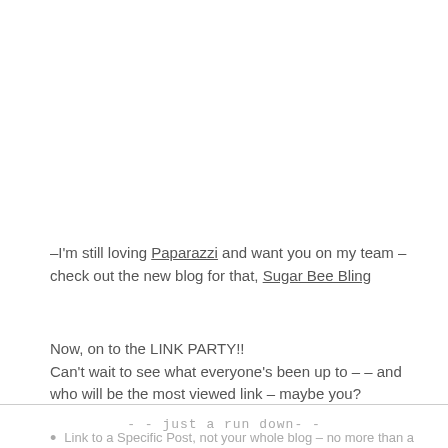–I'm still loving Paparazzi and want you on my team – check out the new blog for that, Sugar Bee Bling
Now, on to the LINK PARTY!! Can't wait to see what everyone's been up to –  – and who will be the most viewed link – maybe you?
- - just a run down- -
Link to a Specific Post, not your whole blog – no more than a couple of